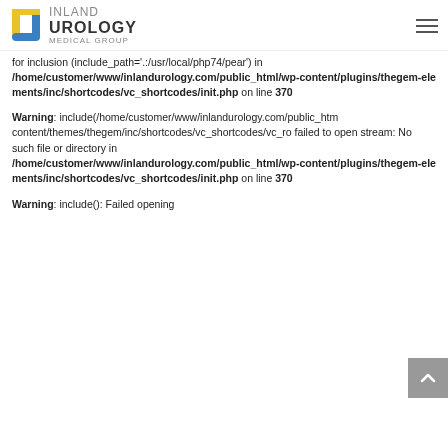Inland Urology Medical Group
for inclusion (include_path='.:/usr/local/php74/pear') in /home/customer/www/inlandurology.com/public_html/wp-content/plugins/thegem-elements/inc/shortcodes/vc_shortcodes/init.php on line 370
Warning: include(/home/customer/www/inlandurology.com/public_html/wp-content/themes/thegem/inc/shortcodes/vc_shortcodes/vc_r failed to open stream: No such file or directory in /home/customer/www/inlandurology.com/public_html/wp-content/plugins/thegem-elements/inc/shortcodes/vc_shortcodes/init.php on line 370
Warning: include(): Failed opening